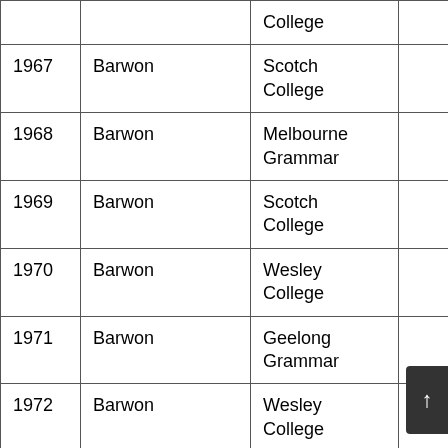| Year | Region | School |  |
| --- | --- | --- | --- |
|  |  | College |  |
| 1967 | Barwon | Scotch College |  |
| 1968 | Barwon | Melbourne Grammar |  |
| 1969 | Barwon | Scotch College |  |
| 1970 | Barwon | Wesley College |  |
| 1971 | Barwon | Geelong Grammar |  |
| 1972 | Barwon | Wesley College |  |
| 1973 | Barwon | Scotch College |  |
| 1974 | Barwon | Geelong Grammar |  |
| 1975 | Barwon | Geelong Grammar |  |